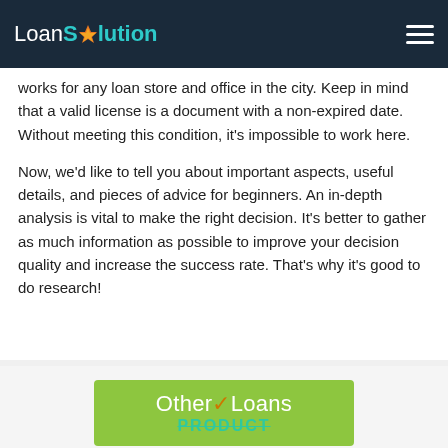LoanSolution
works for any loan store and office in the city. Keep in mind that a valid license is a document with a non-expired date. Without meeting this condition, it's impossible to work here.
Now, we'd like to tell you about important aspects, useful details, and pieces of advice for beginners. An in-depth analysis is vital to make the right decision. It's better to gather as much information as possible to improve your decision quality and increase the success rate. That's why it's good to do research!
[Figure (other): Green CTA button with 'Other Loans' and 'PRODUCT' text overlay]
Applying does NOT affect your credit score!
No credit check to apply.